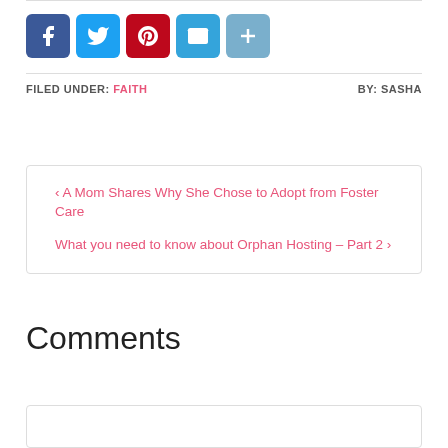[Figure (infographic): Social sharing buttons: Facebook (blue), Twitter (light blue), Pinterest (red), Email (blue), More/Plus (light blue)]
FILED UNDER: FAITH   BY: SASHA
‹ A Mom Shares Why She Chose to Adopt from Foster Care
What you need to know about Orphan Hosting – Part 2 ›
Comments